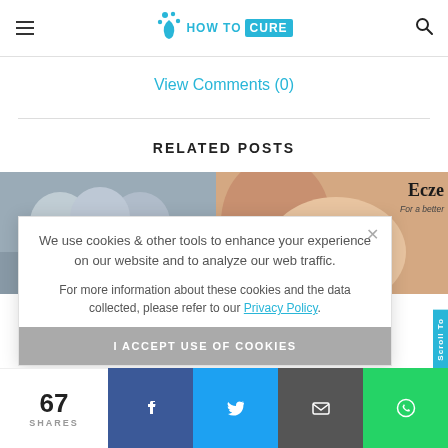HOW TO CURE
View Comments (0)
RELATED POSTS
[Figure (photo): Two photos side by side: left shows people in a setting, right shows a person scratching their ear/neck with text 'Ecze' and 'For a better']
We use cookies & other tools to enhance your experience on our website and to analyze our web traffic.

For more information about these cookies and the data collected, please refer to our Privacy Policy.
I ACCEPT USE OF COOKIES
67
SHARES